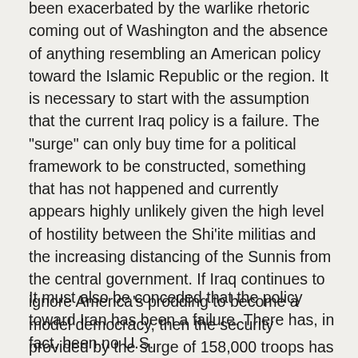been exacerbated by the warlike rhetoric coming out of Washington and the absence of anything resembling an American policy toward the Islamic Republic or the region. It is necessary to start with the assumption that the current Iraq policy is a failure. The "surge" can only buy time for a political framework to be constructed, something that has not happened and currently appears highly unlikely given the high level of hostility between the Shi'ite militias and the increasing distancing of the Sunnis from the central government. If Iraq continues to ignore America's prodding to become a model democracy, then the security provided by the surge of 158,000 troops has been little more than a temporary success, if that.
It must also be conceded that the policy toward Iran has been a failure. There has, in fact, been no U.S.